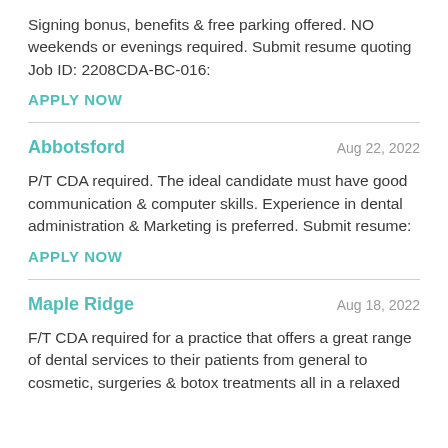Signing bonus, benefits & free parking offered. NO weekends or evenings required. Submit resume quoting Job ID: 2208CDA-BC-016:
APPLY NOW
Abbotsford
Aug 22, 2022
P/T CDA required. The ideal candidate must have good communication & computer skills. Experience in dental administration & Marketing is preferred. Submit resume:
APPLY NOW
Maple Ridge
Aug 18, 2022
F/T CDA required for a practice that offers a great range of dental services to their patients from general to cosmetic, surgeries & botox treatments all in a relaxed